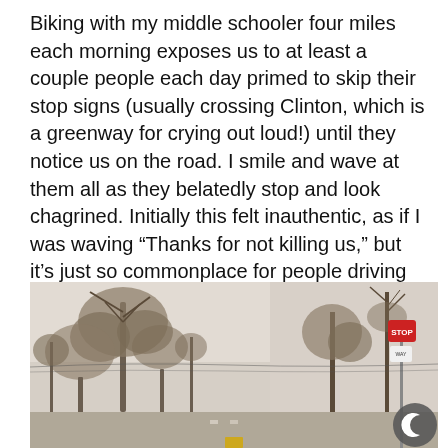Biking with my middle schooler four miles each morning exposes us to at least a couple people each day primed to skip their stop signs (usually crossing Clinton, which is a greenway for crying out loud!) until they notice us on the road. I smile and wave at them all as they belatedly stop and look chagrined. Initially this felt inauthentic, as if I was waving “Thanks for not killing us,” but it’s just so commonplace for people driving to ignore the right of way that I’ve accepted it as The Way Things Are. Now it’s a pleasant excuse to wave to someone who might wave back.
[Figure (photo): Outdoor street-level photograph showing bare and leafy trees against a hazy sky, with a street intersection and traffic signs visible on the right side. Image is muted/sepia-toned. A dark circular icon with a crescent moon symbol appears in the bottom-right corner of the image.]